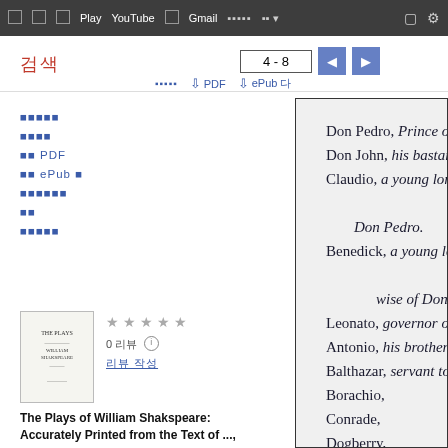검색 지도 Play YouTube 뉴스 Gmail 드라이브 더보기
검색
4 - 8
전체 보기 PDF ePub 다운로드
책을 미리 봅니다
리뷰 작성
PDF 다운로드
ePub 다운로드
주의사항 리포트
도서
도서 정보
0 리뷰 리뷰 작성
The Plays of William Shakspeare: Accurately Printed from the Text of ...,
Don Pedro, Prince of Arrag...
Don John, his bastard broth...
Claudio, a young lord of Fl...
Don Pedro.
Benedick, a young lord of P...
wise of Don Pedro.
Leonato, governor of Messi...
Antonio, his brother.
Balthazar, servant to Don P...
Borachio,
Conrade,
Dogberry,